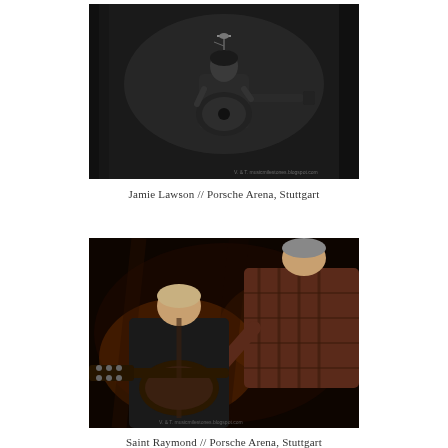[Figure (photo): Black and white concert photo of Jamie Lawson performing on stage, singing into a microphone while playing an acoustic guitar, with a dark curtain backdrop.]
Jamie Lawson // Porsche Arena, Stuttgart
[Figure (photo): Color concert photo of two musicians on stage at the Porsche Arena, Stuttgart. One musician in a plaid shirt leans over another who is playing an electric guitar. Stage lighting creates a warm amber glow against a dark, smoky background.]
Saint Raymond // Porsche Arena, Stuttgart